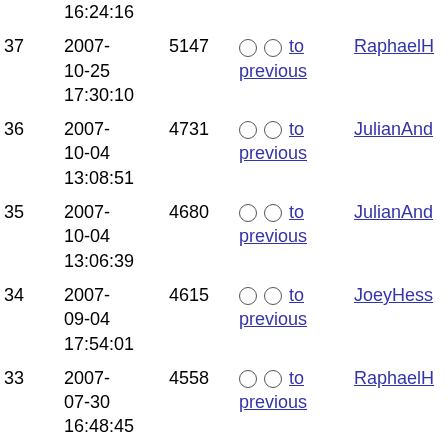| # | Date | ID | Action | User |
| --- | --- | --- | --- | --- |
|  | 16:24:16 |  |  |  |
| 37 | 2007-10-25 17:30:10 | 5147 | ○ ○ to previous | RaphaelH |
| 36 | 2007-10-04 13:08:51 | 4731 | ○ ○ to previous | JulianAnd |
| 35 | 2007-10-04 13:06:39 | 4680 | ○ ○ to previous | JulianAnd |
| 34 | 2007-09-04 17:54:01 | 4615 | ○ ○ to previous | JoeyHess |
| 33 | 2007-07-30 16:48:45 | 4558 | ○ ○ to previous | RaphaelH |
| 32 | 2007-03-27 15:44:08 | 4513 | ○ ○ to previous | ?NivSard |